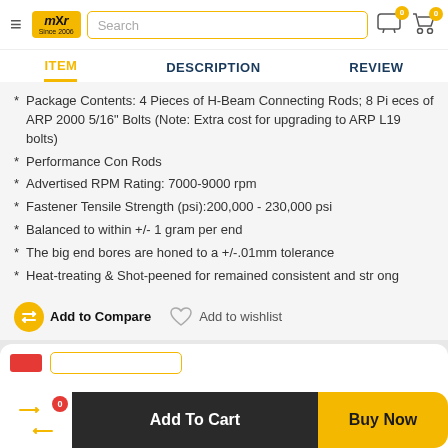mXr Since 2006 — Search bar — navigation icons
ITEM | DESCRIPTION | REVIEW
Package Contents: 4 Pieces of H-Beam Connecting Rods; 8 Pieces of ARP 2000 5/16" Bolts (Note: Extra cost for upgrading to ARP L19 bolts)
Performance Con Rods
Advertised RPM Rating: 7000-9000 rpm
Fastener Tensile Strength (psi):200,000 - 230,000 psi
Balanced to within +/- 1 gram per end
The big end bores are honed to a +/-.01mm tolerance
Heat-treating & Shot-peened for remained consistent and strong
Add to Compare   Add to wishlist
Add To Cart   Buy Now